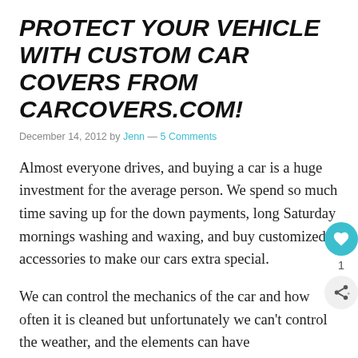PROTECT YOUR VEHICLE WITH CUSTOM CAR COVERS FROM CARCOVERS.COM!
December 14, 2012 by Jenn — 5 Comments
Almost everyone drives, and buying a car is a huge investment for the average person. We spend so much time saving up for the down payments, long Saturday mornings washing and waxing, and buy customized accessories to make our cars extra special.
We can control the mechanics of the car and how often it is cleaned but unfortunately we can't control the weather, and the elements can have